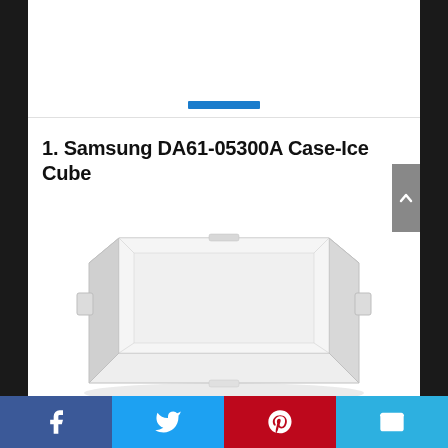[Figure (screenshot): Top portion of a webpage showing a blue highlight/button bar at the top of the image area]
1. Samsung DA61-05300A Case-Ice Cube
[Figure (photo): Photo of a white plastic rectangular ice cube case/tray - Samsung part DA61-05300A. The tray is a rectangular container with slightly rounded corners and small tab handles on the sides.]
Facebook | Twitter | Pinterest | Email social sharing bar